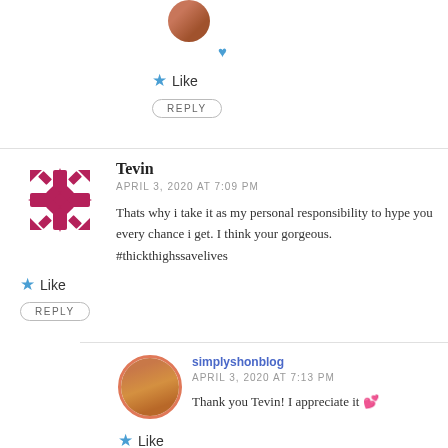[Figure (photo): Small circular avatar photo of a person at the top, partially visible]
❤ (blue heart icon)
Like
REPLY
Tevin
APRIL 3, 2020 AT 7:09 PM
Thats why i take it as my personal responsibility to hype you every chance i get. I think your gorgeous. #thickthighssavelives
Like
REPLY
simplyshonblog
APRIL 3, 2020 AT 7:13 PM
Thank you Tevin! I appreciate it 💕
Like